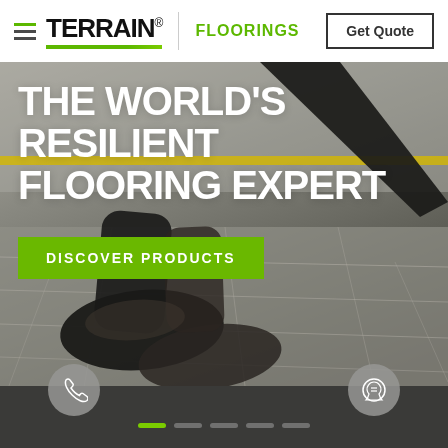[Figure (logo): TERRAIN Floorings logo with hamburger menu icon, green underbar, vertical divider, FLOORINGS text in green, and Get Quote button]
[Figure (photo): Hero photo of person walking on gray resilient flooring tiles, wearing black sneakers, with a yellow line on the ground. Overlaid with large white bold text: THE WORLD'S RESILIENT FLOORING EXPERT, and a green CTA button DISCOVER PRODUCTS]
THE WORLD'S RESILIENT FLOORING EXPERT
DISCOVER PRODUCTS
[Figure (other): Bottom navigation bar with phone call circle button on left, WhatsApp circle button on right, and 5 slider dot indicators (first one active/green) on dark background]